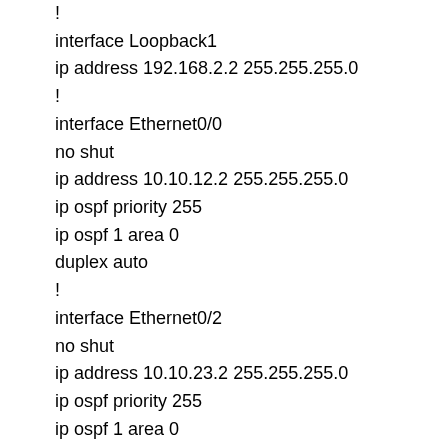!
interface Loopback1
ip address 192.168.2.2 255.255.255.0
!
interface Ethernet0/0
no shut
ip address 10.10.12.2 255.255.255.0
ip ospf priority 255
ip ospf 1 area 0
duplex auto
!
interface Ethernet0/2
no shut
ip address 10.10.23.2 255.255.255.0
ip ospf priority 255
ip ospf 1 area 0
duplex auto
!
router ospf 1
network 10.10.2.2 0.0.0.0 area 0
network 192.168.2.0 0.0.0.255 area 0